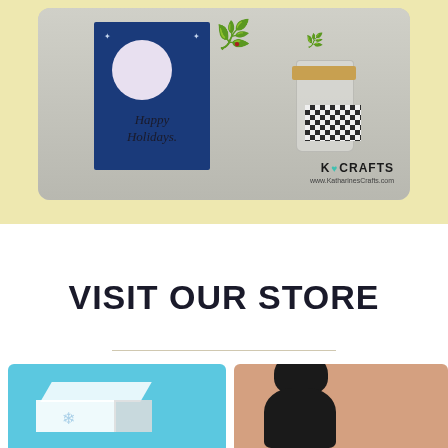[Figure (photo): Holiday craft photo showing a 'Happy Holidays' greeting card with blue background and moon, next to a plaid-decorated candle jar with pine sprig, on a cream/yellow background. K Crafts logo and website www.KatharinesCrafts.com visible in bottom right.]
VISIT OUR STORE
[Figure (photo): Two product thumbnail images at the bottom: left shows a white gift box on blue background, right shows a black cat on peach/tan background.]